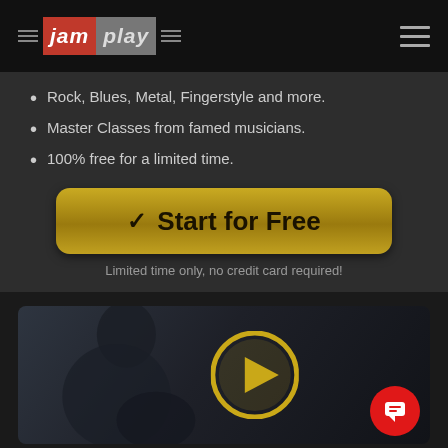[Figure (logo): JamPlay logo with red 'jam' and grey 'play' text with horizontal decorative lines on each side]
Rock, Blues, Metal, Fingerstyle and more.
Master Classes from famed musicians.
100% free for a limited time.
[Figure (other): Gold rounded button with checkmark and text 'Start for Free']
Limited time only, no credit card required!
[Figure (photo): Video thumbnail showing a person playing guitar with a circular gold/yellow play button overlay in the center, and a red chat bubble icon in the bottom right corner]